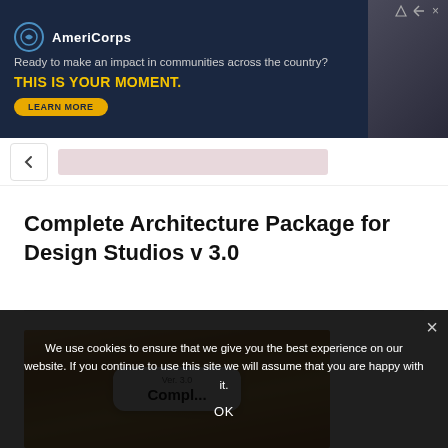[Figure (other): AmeriCorps advertisement banner with dark navy background. Shows AmeriCorps logo, tagline 'Ready to make an impact in communities across the country?', bold yellow text 'THIS IS YOUR MOMENT.', a 'LEARN MORE' button, and a photo of people on the right.]
[Figure (screenshot): Browser navigation bar with back arrow button and a pink/mauve address bar area.]
Complete Architecture Package for Design Studios v 3.0
[Figure (photo): Product image showing a card with 'Ver. 3.0' and partial title text on a wooden background texture.]
We use cookies to ensure that we give you the best experience on our website. If you continue to use this site we will assume that you are happy with it.
OK